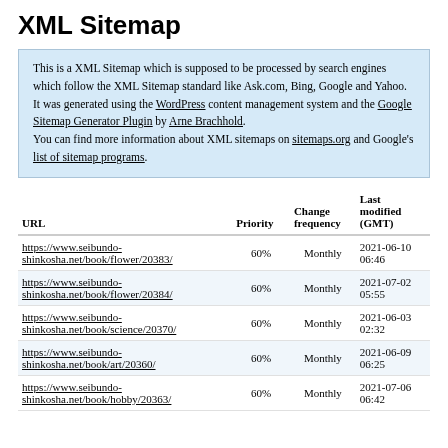XML Sitemap
This is a XML Sitemap which is supposed to be processed by search engines which follow the XML Sitemap standard like Ask.com, Bing, Google and Yahoo.
It was generated using the WordPress content management system and the Google Sitemap Generator Plugin by Arne Brachhold.
You can find more information about XML sitemaps on sitemaps.org and Google's list of sitemap programs.
| URL | Priority | Change frequency | Last modified (GMT) |
| --- | --- | --- | --- |
| https://www.seibundo-shinkosha.net/book/flower/20383/ | 60% | Monthly | 2021-06-10 06:46 |
| https://www.seibundo-shinkosha.net/book/flower/20384/ | 60% | Monthly | 2021-07-02 05:55 |
| https://www.seibundo-shinkosha.net/book/science/20370/ | 60% | Monthly | 2021-06-03 02:32 |
| https://www.seibundo-shinkosha.net/book/art/20360/ | 60% | Monthly | 2021-06-09 06:25 |
| https://www.seibundo-shinkosha.net/book/hobby/20363/ | 60% | Monthly | 2021-07-06 06:42 |